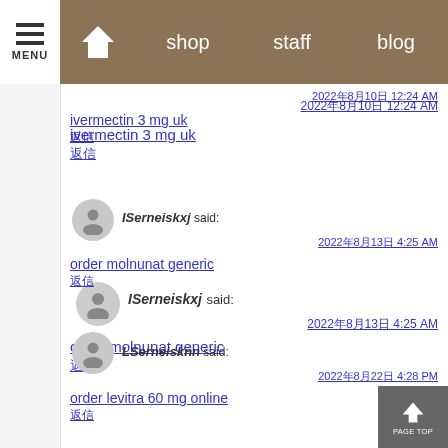MENU | home | shop | staff | blog
2022年8月10日 12:24 AM
ivermectin 3 mg uk
返信
ISerneiskxj said:
2022年8月13日 4:25 AM
order molnunat generic
返信
LSerneisknn said:
2022年8月22日 4:28 PM
order levitra 60 mg online
返信